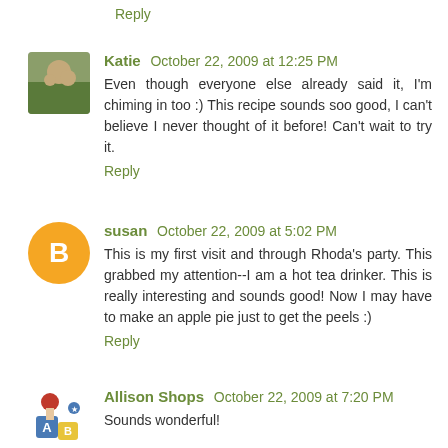Reply
[Figure (photo): Avatar photo of Katie - person outdoors]
Katie  October 22, 2009 at 12:25 PM
Even though everyone else already said it, I'm chiming in too :) This recipe sounds soo good, I can't believe I never thought of it before! Can't wait to try it.
Reply
[Figure (logo): Orange circle with letter B - Blogger avatar for susan]
susan  October 22, 2009 at 5:02 PM
This is my first visit and through Rhoda's party. This grabbed my attention--I am a hot tea drinker. This is really interesting and sounds good! Now I may have to make an apple pie just to get the peels :)
Reply
[Figure (photo): Avatar image of Allison Shops - small toy/block style icon]
Allison Shops  October 22, 2009 at 7:20 PM
Sounds wonderful!